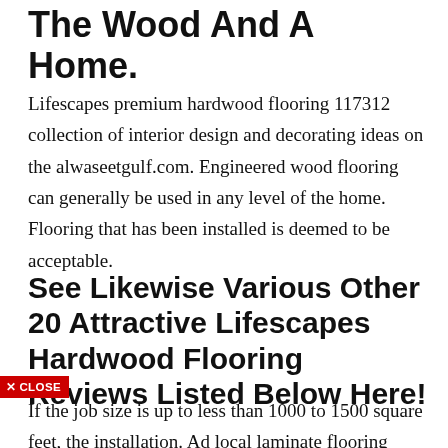The Wood And A Home.
Lifescapes premium hardwood flooring 117312 collection of interior design and decorating ideas on the alwaseetgulf.com. Engineered wood flooring can generally be used in any level of the home. Flooring that has been installed is deemed to be acceptable.
See Likewise Various Other 20 Attractive Lifescapes Hardwood Flooring Reviews Listed Below Here!
✕ CLOSE
If the job size is up to less than 1000 to 1500 square feet, the installation. Ad local laminate flooring specialists, compare quotes and find a